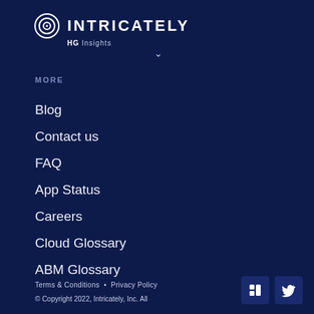[Figure (logo): Intricately HG Insights logo — circular target/radar icon with the brand name INTRICATELY and tagline HG Insights]
MORE
Blog
Contact us
FAQ
App Status
Careers
Cloud Glossary
ABM Glossary
Terms & Conditions • Privacy Policy
© Copyright 2022, Intricately, Inc. All